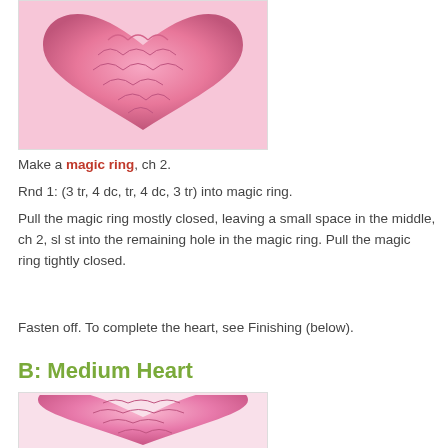[Figure (photo): Close-up photograph of a pink crocheted small heart, showing detailed yarn texture and stitches.]
Make a magic ring, ch 2.
Rnd 1: (3 tr, 4 dc, tr, 4 dc, 3 tr) into magic ring.
Pull the magic ring mostly closed, leaving a small space in the middle, ch 2, sl st into the remaining hole in the magic ring. Pull the magic ring tightly closed.
Fasten off. To complete the heart, see Finishing (below).
B: Medium Heart
[Figure (photo): Photograph of a pink crocheted medium heart, slightly larger, with visible yarn stitches on a light pink background.]